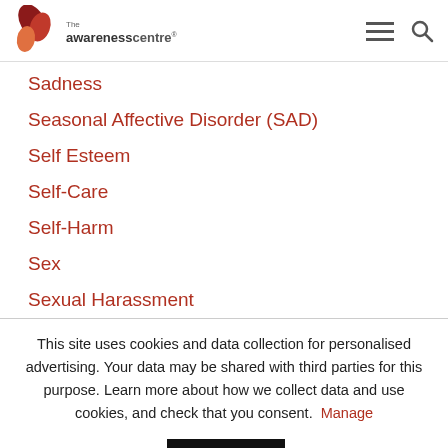The Awareness Centre
Sadness
Seasonal Affective Disorder (SAD)
Self Esteem
Self-Care
Self-Harm
Sex
Sexual Harassment
This site uses cookies and data collection for personalised advertising. Your data may be shared with third parties for this purpose. Learn more about how we collect data and use cookies, and check that you consent. Manage
Preferences | I Consent | Learn more